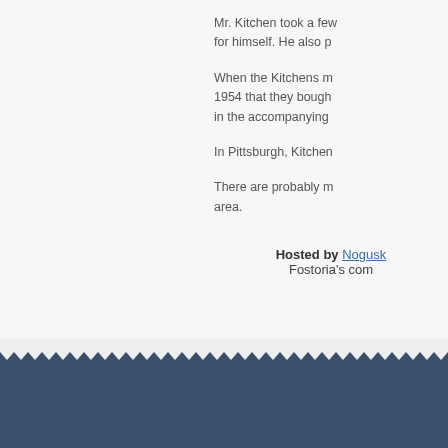Mr. Kitchen took a few pictures for himself. He also p
When the Kitchens m 1954 that they bough in the accompanying
In Pittsburgh, Kitchen
There are probably m area.
Hosted by Nogusk Fostoria's com
[Figure (other): Decorative footer with zigzag pattern and dark navy bar]